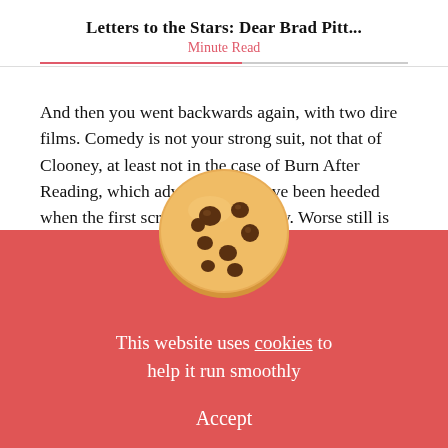Letters to the Stars: Dear Brad Pitt...
Minute Read
And then you went backwards again, with two dire films. Comedy is not your strong suit, not that of Clooney, at least not in the case of Burn After Reading, which advice should have been heeded when the first script came your way. Worse still is The Curious Case of Benjamin Button, a str... e of judgement by David Fincher. It's a f... admirers, but they
[Figure (illustration): Cookie consent overlay with chocolate chip cookie image, red background, text 'This website uses cookies to help it run smoothly' and 'Accept' button]
This website uses cookies to help it run smoothly
Accept